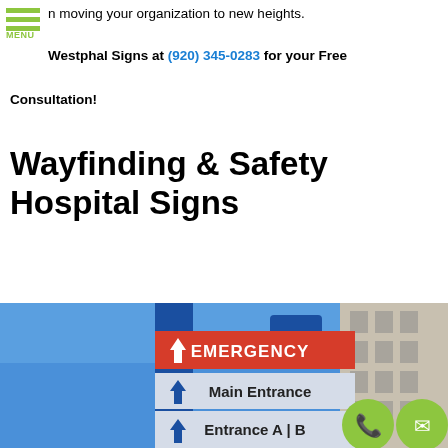n moving your organization to new heights. Westphal Signs at (920) 345-0283 for your Free Consultation!
Wayfinding & Safety Hospital Signs
[Figure (photo): Hospital wayfinding sign showing Emergency (red), Main Entrance, and Entrance A/B directions with upward arrows on blue sign post, with hospital building and blue sky in background. Green phone and email icon buttons overlay the bottom right.]